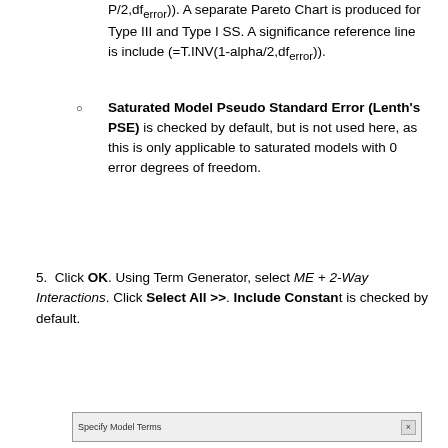P/2,dferror)). A separate Pareto Chart is produced for Type III and Type I SS. A significance reference line is include (=T.INV(1-alpha/2,dferror)).
Saturated Model Pseudo Standard Error (Lenth's PSE) is checked by default, but is not used here, as this is only applicable to saturated models with 0 error degrees of freedom.
5. Click OK. Using Term Generator, select ME + 2-Way Interactions. Click Select All >>. Include Constant is checked by default.
[Figure (screenshot): Dialog box titled 'Specify Model Terms' with a close button]